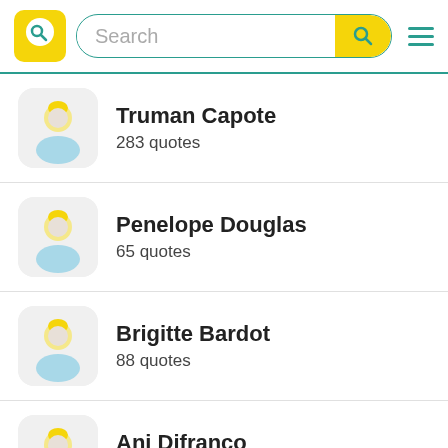[Figure (screenshot): App header with yellow logo showing a Q/speech bubble icon, a search bar with yellow search button, and a hamburger menu icon]
Truman Capote
283 quotes
Penelope Douglas
65 quotes
Brigitte Bardot
88 quotes
Ani Difranco
274 quotes
Ray Charles